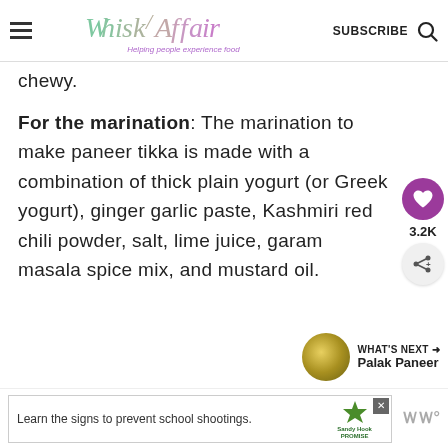Whisk Affair — Helping people experience food | SUBSCRIBE
chewy.
For the marination: The marination to make paneer tikka is made with a combination of thick plain yogurt (or Greek yogurt), ginger garlic paste, Kashmiri red chili powder, salt, lime juice, garam masala spice mix, and mustard oil.
[Figure (other): What's Next thumbnail for Palak Paneer with circular food image]
[Figure (other): Sandy Hook Promise advertisement — Learn the signs to prevent school shootings]